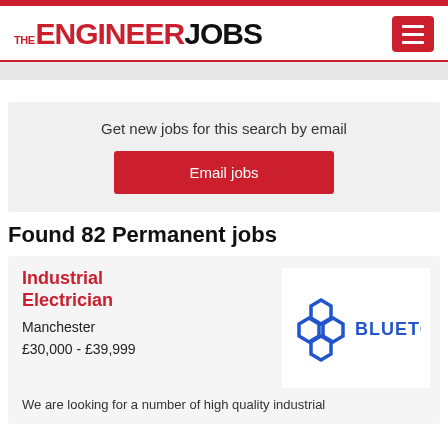THE ENGINEER JOBS
Get new jobs for this search by email
Email jobs
Found 82 Permanent jobs
Industrial Electrician
Manchester
£30,000 - £39,999
[Figure (logo): Bluetown company logo — hexagon icon in blue with BLUETOWN text]
We are looking for a number of high quality industrial